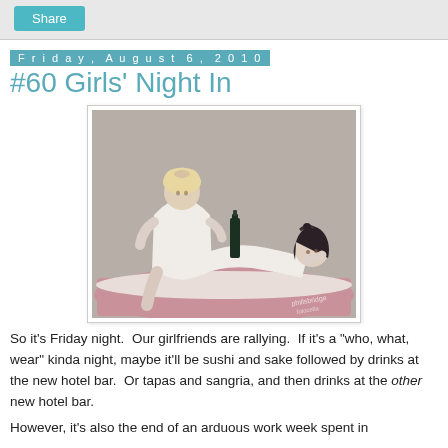Share
Friday, August 6, 2010
#60 Girls' Night In
[Figure (photo): Vintage pin-up style black and white photo with some color, showing two women in white lingerie/nightgowns on a pink surface, one seated upright with a wine bottle, the other reclining. Watermark visible at bottom right.]
So it's Friday night.  Our girlfriends are rallying.  If it's a "who, what, wear" kinda night, maybe it'll be sushi and sake followed by drinks at the new hotel bar.  Or tapas and sangria, and then drinks at the other new hotel bar.
However, it's also the end of an arduous work week spent in